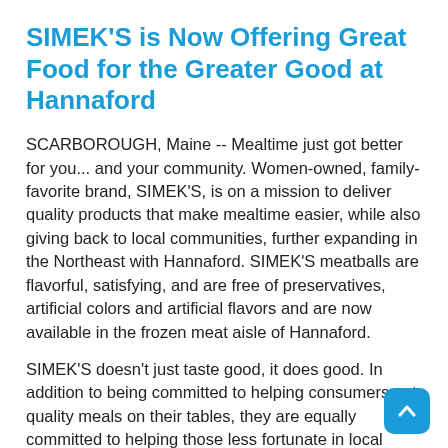SIMEK'S is Now Offering Great Food for the Greater Good at Hannaford
SCARBOROUGH, Maine -- Mealtime just got better for you... and your community. Women-owned, family-favorite brand, SIMEK'S, is on a mission to deliver quality products that make mealtime easier, while also giving back to local communities, further expanding in the Northeast with Hannaford. SIMEK'S meatballs are flavorful, satisfying, and are free of preservatives, artificial colors and artificial flavors and are now available in the frozen meat aisle of Hannaford.
SIMEK'S doesn't just taste good, it does good. In addition to being committed to helping consumers put quality meals on their tables, they are equally committed to helping those less fortunate in local communities to do the same. Believing in the idea of Great Food for the Greater Good(TM), the company champions its One Gives One(TM) hunger-relief program in partnership with